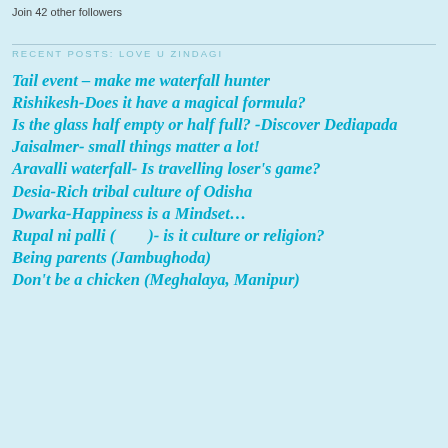Join 42 other followers
RECENT POSTS: LOVE U ZINDAGI
Tail event – make me waterfall hunter
Rishikesh-Does it have a magical formula?
Is the glass half empty or half full? -Discover Dediapada
Jaisalmer- small things matter a lot!
Aravalli waterfall- Is travelling loser's game?
Desia-Rich tribal culture of Odisha
Dwarka-Happiness is a Mindset…
Rupal ni palli (        )- is it culture or religion?
Being parents (Jambughoda)
Don't be a chicken (Meghalaya, Manipur)